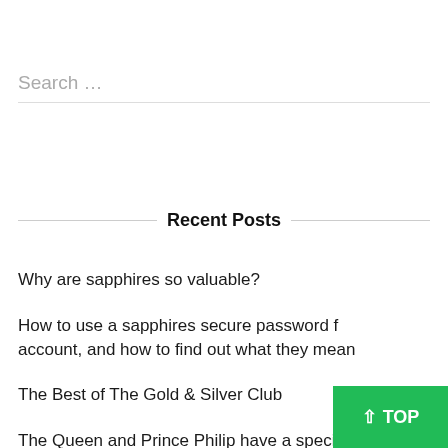Search …
Recent Posts
Why are sapphires so valuable?
How to use a sapphires secure password for your account, and how to find out what they mean
The Best of The Gold & Silver Club
The Queen and Prince Philip have a special